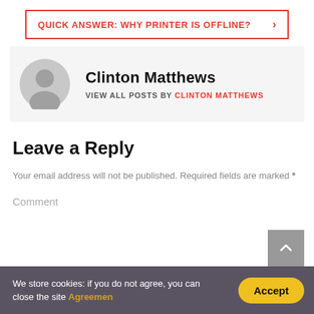QUICK ANSWER: WHY PRINTER IS OFFLINE? >
Clinton Matthews
VIEW ALL POSTS BY CLINTON MATTHEWS
Leave a Reply
Your email address will not be published. Required fields are marked *
Comment
We store cookies: if you do not agree, you can close the site Agreemen